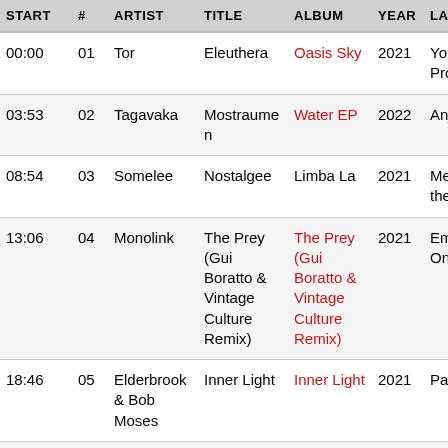| START | # | ARTIST | TITLE | ALBUM | YEAR | LABEL |
| --- | --- | --- | --- | --- | --- | --- |
| 00:00 | 01 | Tor | Eleuthera | Oasis Sky | 2021 | Youth and Progress |
| 03:53 | 02 | Tagavaka | Mostraumen | Water EP | 2022 | Anjuna... |
| 08:54 | 03 | Somelee | Nostalgee | Limba La | 2021 | Melody O the Soul |
| 13:06 | 04 | Monolink | The Prey (Gui Boratto & Vintage Culture Remix) | The Prey (Gui Boratto & Vintage Culture Remix) | 2021 | Embassy One |
| 18:46 | 05 | Elderbrook & Bob Moses | Inner Light | Inner Light | 2021 | Parlipho... |
| 22:46 | 06 | Aeron Aether | Panta Rhei (Intro Mix) | Panta Rhei | 2022 | Mango A... |
| 27:01 | 07 | ... | ... | ... | 2021 | ... |